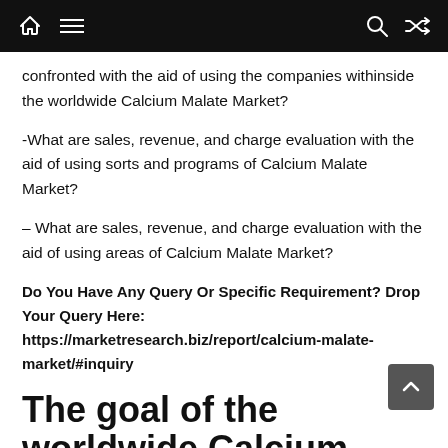Navigation bar with home, menu, search, and shuffle icons
confronted with the aid of using the companies withinside the worldwide Calcium Malate Market?
-What are sales, revenue, and charge evaluation with the aid of using sorts and programs of Calcium Malate Market?
– What are sales, revenue, and charge evaluation with the aid of using areas of Calcium Malate Market?
Do You Have Any Query Or Specific Requirement? Drop Your Query Here: https://marketresearch.biz/report/calcium-malate-market/#inquiry
The goal of the worldwide Calcium Malate market studies report has been to offer facts